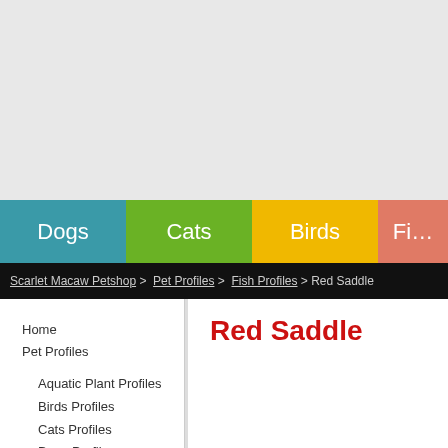[Figure (other): Gray banner area at the top of a pet shop website, serving as a header/ad space]
Dogs  Cats  Birds  Fi…
Scarlet Macaw Petshop > Pet Profiles > Fish Profiles > Red Saddle
Home
Pet Profiles
Aquatic Plant Profiles
Birds Profiles
Cats Profiles
Dogs Profiles
Fish Profiles
Red Saddle